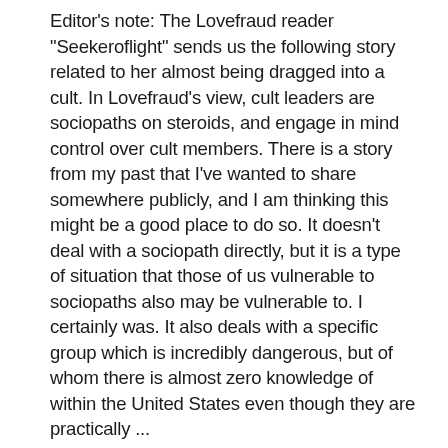Editor's note: The Lovefraud reader "Seekeroflight" sends us the following story related to her almost being dragged into a cult. In Lovefraud's view, cult leaders are sociopaths on steroids, and engage in mind control over cult members. There is a story from my past that I've wanted to share somewhere publicly, and I am thinking this might be a good place to do so. It doesn't deal with a sociopath directly, but it is a type of situation that those of us vulnerable to sociopaths also may be vulnerable to. I certainly was. It also deals with a specific group which is incredibly dangerous, but of whom there is almost zero knowledge of within the United States even though they are practically ...